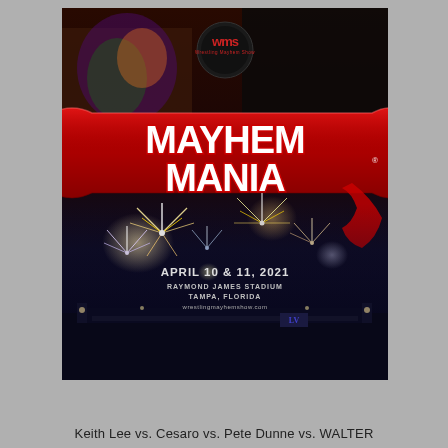[Figure (illustration): MayhemMania wrestling event promotional poster. Features wrestlers holding items at top, WMS (Wrestling Mayhem Show) logo, large red ribbon banner with 'MAYHEMMANIA' text in white, fireworks over Raymond James Stadium at night. Event details: April 10 & 11, 2021, Raymond James Stadium, Tampa, Florida, wrestlingmayhemshow.com]
Keith Lee vs. Cesaro vs. Pete Dunne vs. WALTER